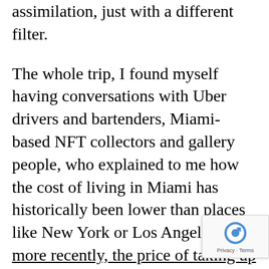assimilation, just with a different filter.
The whole trip, I found myself having conversations with Uber drivers and bartenders, Miami-based NFT collectors and gallery people, who explained to me how the cost of living in Miami has historically been lower than places like New York or Los Angeles. But more recently, the price of taking up space is on the rise. When I spoke to locals, the service industry workers among them sounded worried. Most crypto people were not.
I guess when you have enough in your